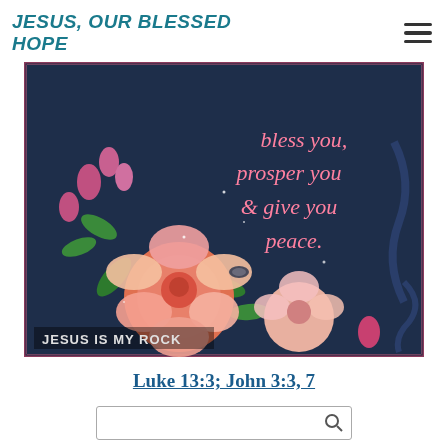JESUS, OUR BLESSED HOPE
[Figure (photo): Decorative religious image with pink roses and text reading 'bless you, prosper you & give you peace.' and 'JESUS IS MY ROCK' on a dark blue background with ornate border.]
Luke 13:3; John 3:3, 7